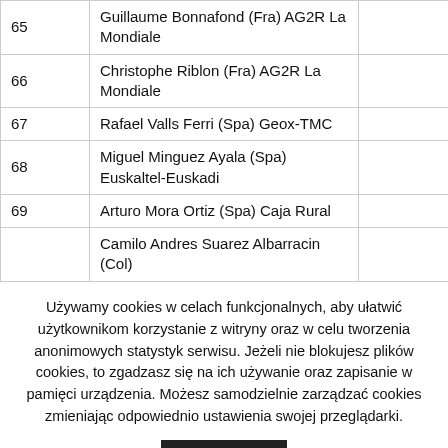| # | Rider |  |  |
| --- | --- | --- | --- |
| 65 | Guillaume Bonnafond (Fra) AG2R La Mondiale |  |  |
| 66 | Christophe Riblon (Fra) AG2R La Mondiale |  |  |
| 67 | Rafael Valls Ferri (Spa) Geox-TMC |  |  |
| 68 | Miguel Minguez Ayala (Spa) Euskaltel-Euskadi |  |  |
| 69 | Arturo Mora Ortiz (Spa) Caja Rural |  |  |
|  | Camilo Andres Suarez Albarracin (Col) |  |  |
Używamy cookies w celach funkcjonalnych, aby ułatwić użytkownikom korzystanie z witryny oraz w celu tworzenia anonimowych statystyk serwisu. Jeżeli nie blokujesz plików cookies, to zgadzasz się na ich używanie oraz zapisanie w pamięci urządzenia. Możesz samodzielnie zarządzać cookies zmieniając odpowiednio ustawienia swojej przeglądarki.
Akceptuję